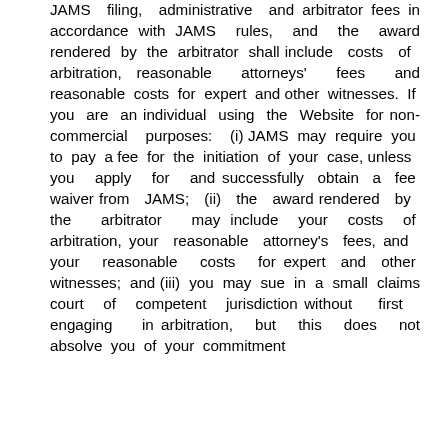JAMS filing, administrative and arbitrator fees in accordance with JAMS rules, and the award rendered by the arbitrator shall include costs of arbitration, reasonable attorneys' fees and reasonable costs for expert and other witnesses. If you are an individual using the Website for non-commercial purposes: (i) JAMS may require you to pay a fee for the initiation of your case, unless you apply for and successfully obtain a fee waiver from JAMS; (ii) the award rendered by the arbitrator may include your costs of arbitration, your reasonable attorney's fees, and your reasonable costs for expert and other witnesses; and (iii) you may sue in a small claims court of competent jurisdiction without first engaging in arbitration, but this does not absolve you of your commitment